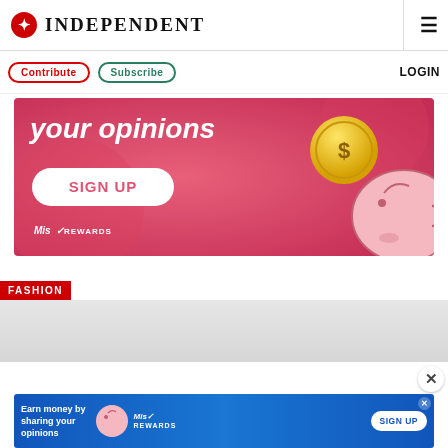INDEPENDENT
Contribute  Subscribe  LOGIN
[Figure (infographic): Misu Rewards advertisement banner with pink background showing 'your opinions' text, SIGN UP button, piggy bank illustration, and gold dollar coin]
FASHION
[Figure (infographic): Bottom banner ad: Earn money by sharing your opinions - Misu Rewards SIGN UP button on blue background]